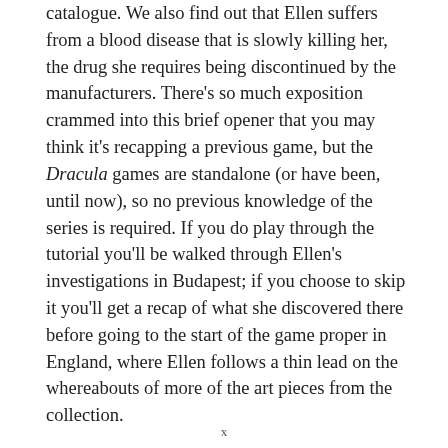catalogue. We also find out that Ellen suffers from a blood disease that is slowly killing her, the drug she requires being discontinued by the manufacturers. There's so much exposition crammed into this brief opener that you may think it's recapping a previous game, but the Dracula games are standalone (or have been, until now), so no previous knowledge of the series is required. If you do play through the tutorial you'll be walked through Ellen's investigations in Budapest; if you choose to skip it you'll get a recap of what she discovered there before going to the start of the game proper in England, where Ellen follows a thin lead on the whereabouts of more of the art pieces from the collection.
x